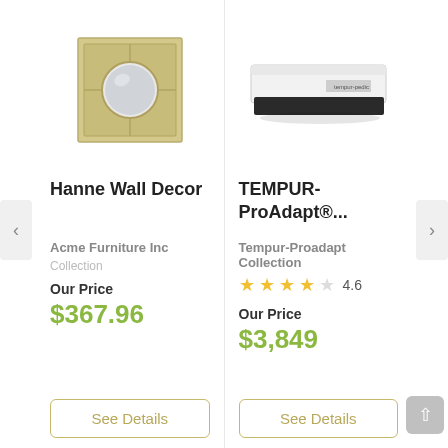[Figure (illustration): Square decorative wall mirror with circular mirror center and divided frame, silver/gold tone]
Hanne Wall Decor
Acme Furniture Inc
Collection
Our Price
$367.96
See Details
[Figure (photo): White and dark gray mattress, low profile, Tempur-Pedic brand]
TEMPUR-ProAdapt®...
Tempur-Proadapt Collection
4.6
Our Price
$3,849
See Details